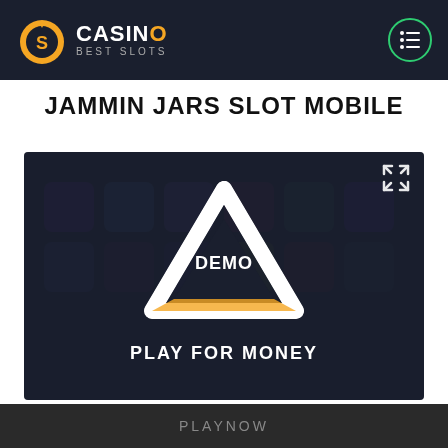CASINO BEST SLOTS
JAMMIN JARS SLOT MOBILE
[Figure (screenshot): Dark-themed slot game demo screen with a triangular play button showing 'DEMO' text in the center, a 'PLAY FOR MONEY' label below, and a shrink/collapse icon in the top-right corner. Background shows blurred slot game imagery.]
PLAYNOW